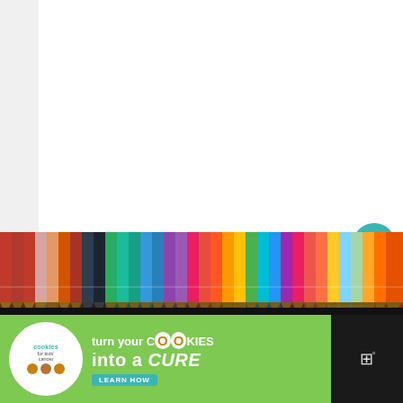[Figure (screenshot): White content area with three gray loading dots in the center, indicating a loading state. Two floating action buttons on the right: teal heart/favorite button and gray share button. A 'What's Next' recommendation panel showing a back-to-school article thumbnail. A colorful row of colored pencils across the bottom portion. A green advertisement banner at the very bottom for 'Cookies for Kids' Cancer' promoting 'turn your COOKIES into a CURE LEARN HOW'.]